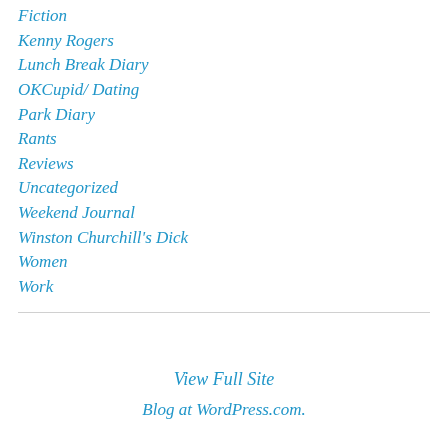Fiction
Kenny Rogers
Lunch Break Diary
OKCupid/ Dating
Park Diary
Rants
Reviews
Uncategorized
Weekend Journal
Winston Churchill's Dick
Women
Work
View Full Site
Blog at WordPress.com.